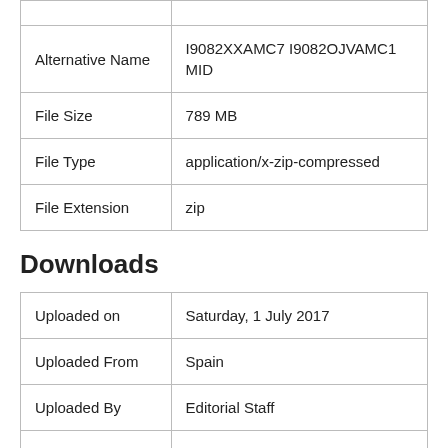|  |  |
| --- | --- |
| Alternative Name | I9082XXAMC7 I9082OJVAMC1 MID |
| File Size | 789 MB |
| File Type | application/x-zip-compressed |
| File Extension | zip |
Downloads
|  |  |
| --- | --- |
| Uploaded on | Saturday, 1 July 2017 |
| Uploaded From | Spain |
| Uploaded By | Editorial Staff |
| Uploaded For | firmwarefile.com |